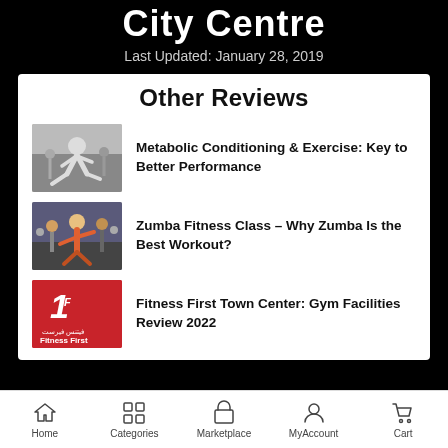City Centre
Last Updated: January 28, 2019
Other Reviews
[Figure (photo): Person doing exercise/lunge pose in fitness studio]
Metabolic Conditioning & Exercise: Key to Better Performance
[Figure (photo): Group Zumba fitness class in a gym]
Zumba Fitness Class – Why Zumba Is the Best Workout?
[Figure (logo): Fitness First logo on red background]
Fitness First Town Center: Gym Facilities Review 2022
Home   Categories   Marketplace   MyAccount   Cart